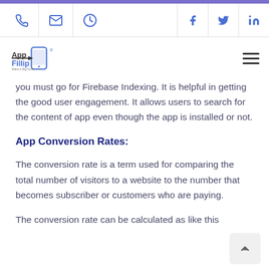AppFillip website header with phone, email, clock icons and Facebook, Twitter, LinkedIn social icons, plus AppFillip logo and hamburger menu
you must go for Firebase Indexing. It is helpful in getting the good user engagement. It allows users to search for the content of app even though the app is installed or not.
App Conversion Rates:
The conversion rate is a term used for comparing the total number of visitors to a website to the number that becomes subscriber or customers who are paying.
The conversion rate can be calculated as like this